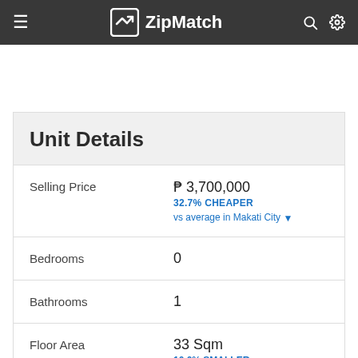ZipMatch
Unit Details
| Field | Value |
| --- | --- |
| Selling Price | ₱ 3,700,000
32.7% CHEAPER
vs average in Makati City ▼ |
| Bedrooms | 0 |
| Bathrooms | 1 |
| Floor Area | 33 Sqm
10.0% SMALLER
vs average in Makati City ▼ |
| Project | Oriental Garden Makati ↗ |